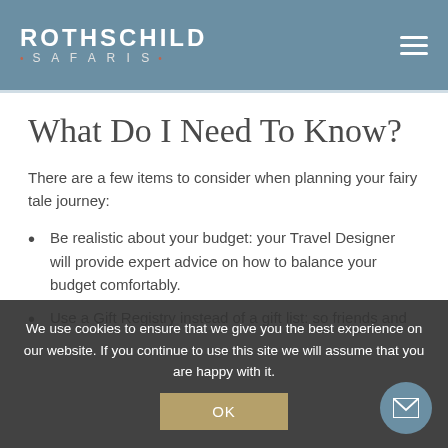ROTHSCHILD SAFARIS
What Do I Need To Know?
There are a few items to consider when planning your fairy tale journey:
Be realistic about your budget: your Travel Designer will provide expert advice on how to balance your budget comfortably.
Use a Gift Registry instead of a gift list: so friends and
Plan Ahead: many of these lodges book out far in advance, like a year or two ahead. And most are so remote that you'll not find alternate accommodations...
We use cookies to ensure that we give you the best experience on our website. If you continue to use this site we will assume that you are happy with it.